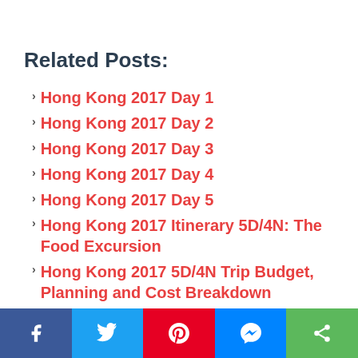Related Posts:
Hong Kong 2017 Day 1
Hong Kong 2017 Day 2
Hong Kong 2017 Day 3
Hong Kong 2017 Day 4
Hong Kong 2017 Day 5
Hong Kong 2017 Itinerary 5D/4N: The Food Excursion
Hong Kong 2017 5D/4N Trip Budget, Planning and Cost Breakdown
Social share bar: Facebook, Twitter, Pinterest, Messenger, Share